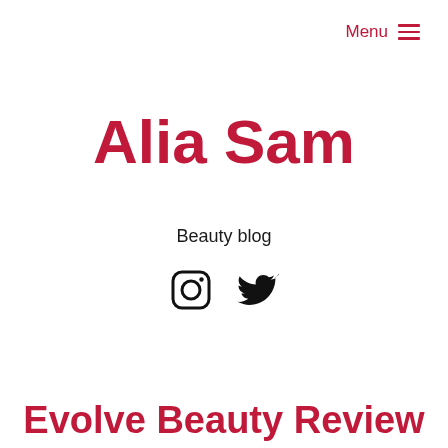Menu ≡
Alia Sam
Beauty blog
[Figure (illustration): Instagram and Twitter social media icons in black]
Evolve Beauty Review